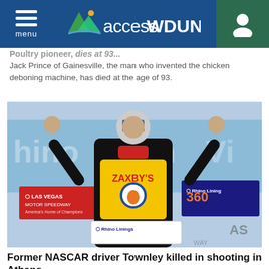accessWDUN
Poultry pioneer, dies at...
Jack Prince of Gainesville, the man who invented the chicken deboning machine, has died at the age of 93.
[Figure (photo): NASCAR driver in Zaxby's racing suit celebrating victory at Las Vegas Motor Speedway, arms raised in triumph, with Rhino Linings 360 branding visible in the background.]
Former NASCAR driver Townley killed in shooting in Athens